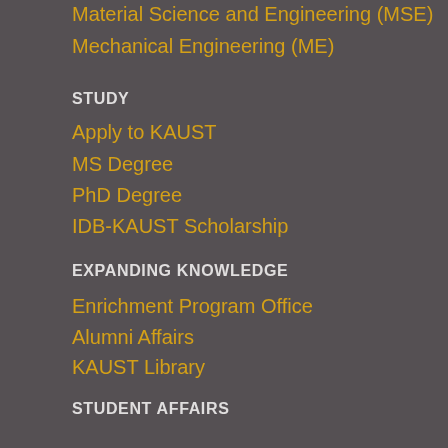Material Science and Engineering (MSE)
Mechanical Engineering (ME)
STUDY
Apply to KAUST
MS Degree
PhD Degree
IDB-KAUST Scholarship
EXPANDING KNOWLEDGE
Enrichment Program Office
Alumni Affairs
KAUST Library
STUDENT AFFAIRS
Registrar's Office
Graduate Services
LIVING IN KAUST